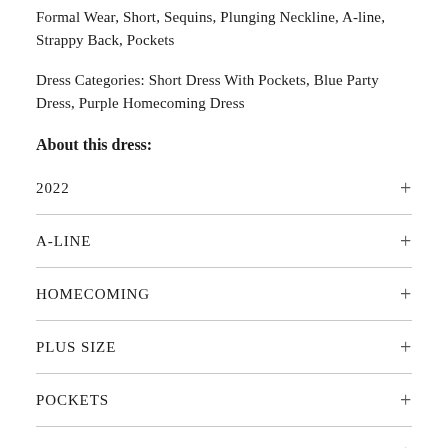Formal Wear, Short, Sequins, Plunging Neckline, A-line, Strappy Back, Pockets
Dress Categories: Short Dress With Pockets, Blue Party Dress, Purple Homecoming Dress
About this dress:
2022
A-LINE
HOMECOMING
PLUS SIZE
POCKETS
SEMI FORMAL